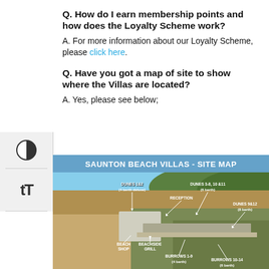Q. How do I earn membership points and how does the Loyalty Scheme work?
A. For more information about our Loyalty Scheme, please click here.
Q. Have you got a map of site to show where the Villas are located?
A. Yes, please see below;
[Figure (map): Aerial photo site map of Saunton Beach Villas showing locations of Dunes 1&2 (4 berth deluxe), Dunes 3-8, 10 & 11 (6 berth), Dunes 9&12 (8 berth), Reception, Beach Shop, Beachside Grill, Burrows 1-9 (4 berth), Burrows 10-14 (6 berth)]
SAUNTON BEACH VILLAS - SITE MAP